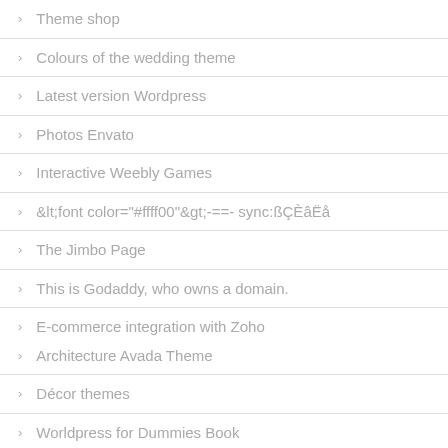Theme shop
Colours of the wedding theme
Latest version Wordpress
Photos Envato
Interactive Weebly Games
&lt;font color="#ffff00"&gt;-==- sync:ßÇÈâËå
The Jimbo Page
This is Godaddy, who owns a domain.
E-commerce integration with Zoho
Architecture Avada Theme
Décor themes
Worldpress for Dummies Book
It'?s late right now.
Per Blogger Templates
Page Builder Templates Siteorigin